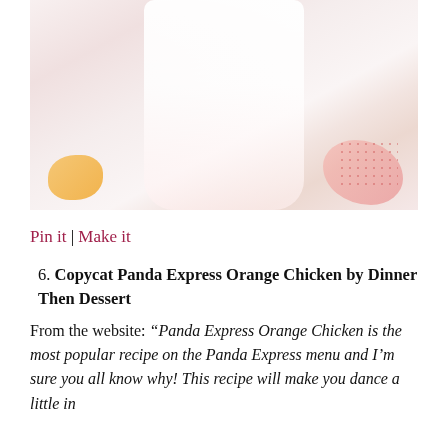[Figure (photo): A glass of orange-colored drink or dessert on a surface with an orange slice and pink/red decorative elements visible at the bottom]
Pin it | Make it
6. Copycat Panda Express Orange Chicken by Dinner Then Dessert
From the website: “Panda Express Orange Chicken is the most popular recipe on the Panda Express menu and I’m sure you all know why! This recipe will make you dance a little in